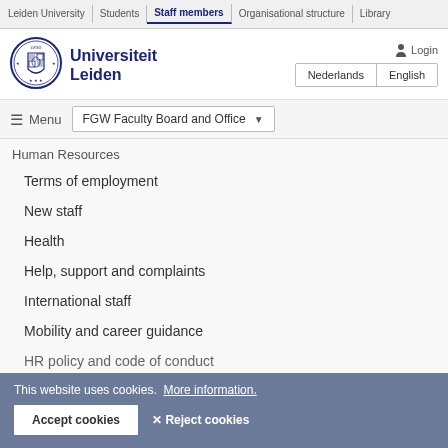Leiden University | Students | Staff members | Organisational structure | Library
[Figure (logo): Leiden University circular seal/crest logo]
Universiteit Leiden
Login
Nederlands | English
≡ Menu   FGW Faculty Board and Office ▾
Human Resources
Terms of employment
New staff
Health
Help, support and complaints
International staff
Mobility and career guidance
HR policy and code of conduct
This website uses cookies.  More information.
Accept cookies   ✕ Reject cookies